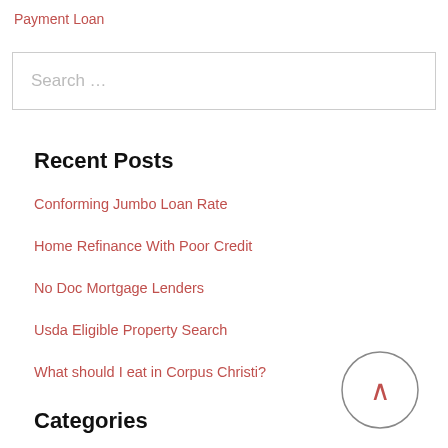Payment Loan
Search …
Recent Posts
Conforming Jumbo Loan Rate
Home Refinance With Poor Credit
No Doc Mortgage Lenders
Usda Eligible Property Search
What should I eat in Corpus Christi?
Categories
[Figure (other): Back to top button — a circle with a caret/chevron pointing upward]